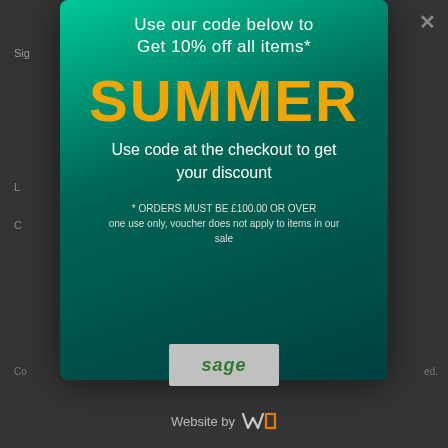Use our code below to Get 10% off all items*
SUMMER
Use code at the checkout to get your discount
* ORDERS MUST BE £100.00 OR OVER one use only, voucher does not apply to items in our sale
[Figure (logo): Sage payment logo]
Website by WC logo